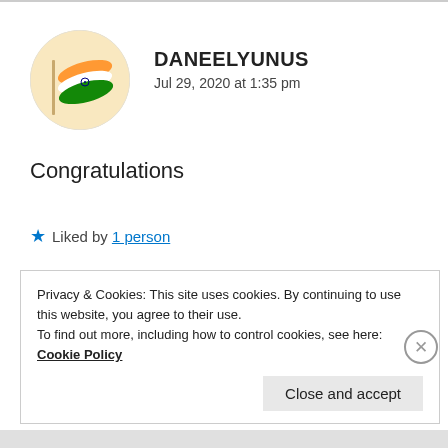[Figure (illustration): Circular avatar showing the Indian flag (tricolor: saffron, white, green with Ashoka Chakra) on a light background]
DANEELYUNUS
Jul 29, 2020 at 1:35 pm
Congratulations
★ Liked by 1 person
Privacy & Cookies: This site uses cookies. By continuing to use this website, you agree to their use.
To find out more, including how to control cookies, see here: Cookie Policy
Close and accept